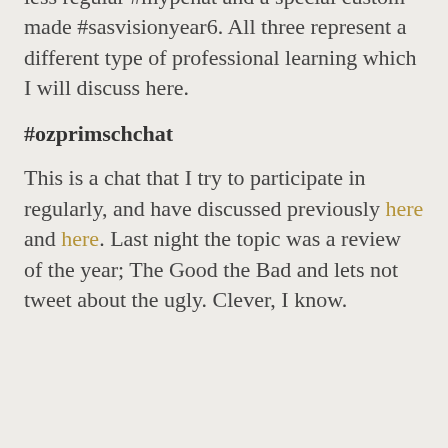less regular #mypehat and a special custom made #sasvisionyear6. All three represent a different type of professional learning which I will discuss here.
#ozprimschchat
This is a chat that I try to participate in regularly, and have discussed previously here and here. Last night the topic was a review of the year; The Good the Bad and lets not tweet about the ugly. Clever, I know.